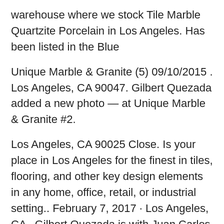warehouse where we stock Tile Marble Quartzite Porcelain in Los Angeles. Has been listed in the Blue
Unique Marble & Granite (5) 09/10/2015 . Los Angeles, CA 90047. Gilbert Quezada added a new photo — at Unique Marble & Granite #2.
Los Angeles, CA 90025 Close. Is your place in Los Angeles for the finest in tiles, flooring, and other key design elements in any home, office, retail, or industrial setting.. February 7, 2017 · Los Angeles, CA · Gilbert Quezada is with Juan Carlos Oblea and Nestor Paniagua at Unique Marble & Granite #2 .
We have been your number one source for marble, tile and granite for over 22 years. Unique Marble &